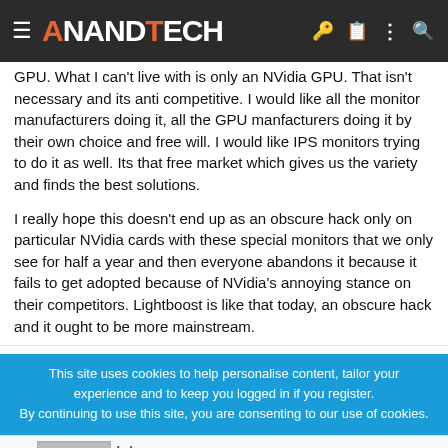AnandTech
GPU. What I can't live with is only an NVidia GPU. That isn't necessary and its anti competitive. I would like all the monitor manufacturers doing it, all the GPU manfacturers doing it by their own choice and free will. I would like IPS monitors trying to do it as well. Its that free market which gives us the variety and finds the best solutions.
I really hope this doesn't end up as an obscure hack only on particular NVidia cards with these special monitors that we only see for half a year and then everyone abandons it because it fails to get adopted because of NVidia's annoying stance on their competitors. Lightboost is like that today, an obscure hack and it ought to be more mainstream.
This site uses cookies to help personalise content, tailor your experience and to keep you logged in if you register.
By continuing to use this site, you are consenting to our use of cookies.
Labor Day Sale Save Up To 60% | Behar's Furniture | Shop Now